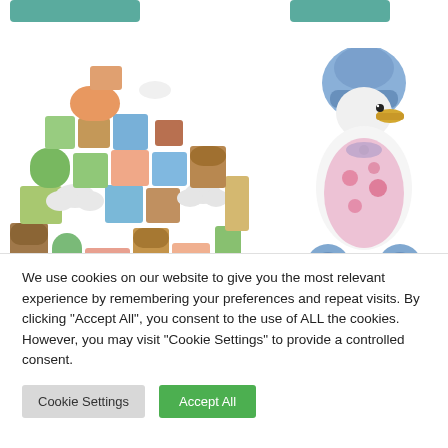[Figure (photo): Colorful wooden toy building blocks set arranged in a stack, pastel colors including green, pink, orange, blue, brown]
[Figure (photo): Jemima Puddle-Duck wooden pull-along toy on wheels, wearing blue bonnet and white apron with pink floral pattern]
We use cookies on our website to give you the most relevant experience by remembering your preferences and repeat visits. By clicking "Accept All", you consent to the use of ALL the cookies. However, you may visit "Cookie Settings" to provide a controlled consent.